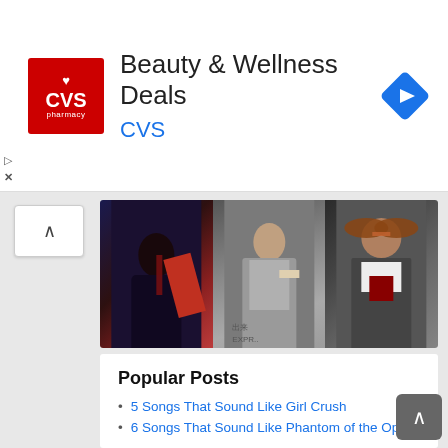[Figure (screenshot): CVS Pharmacy advertisement banner with logo, 'Beauty & Wellness Deals' headline, and navigation icon]
[Figure (photo): Photo strip showing three celebrity images side by side: dark moody figure on left, person in jacket in middle, man with sunglasses and tie on right]
Check out every post on the site that has made it's way into court (or settled out of court).
CLICK HERE
Popular Posts
5 Songs That Sound Like Girl Crush
6 Songs That Sound Like Phantom of the Opera